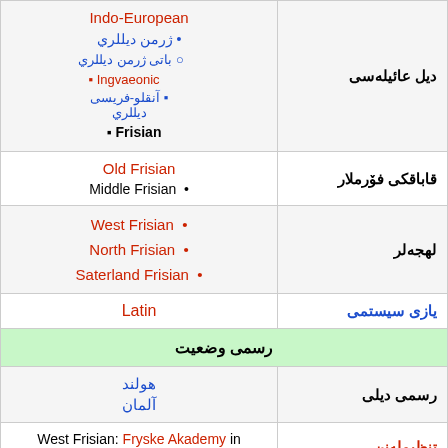| left | right |
| --- | --- |
| Indo-European • ژرمن ديللري ○ باتى ژرمن ديللري ▪ Ingvaeonic ▪ آنقلو-فريسى ديللري ▪ Frisian | ديل عائيله‌سى |
| Old Frisian • Middle Frisian | قاباقكى فۆرملار |
| • West Frisian
• North Frisian
• Saterland Frisian | لهجه‌لر |
| Latin | يازى سيستمى |
| رسمى وضعيت |  |
| هولند آلمان | رسمى ديلى |
| West Frisian: Fryske Akademy in Leeuwarden/Ljouwert | تنظيمله‌نن |